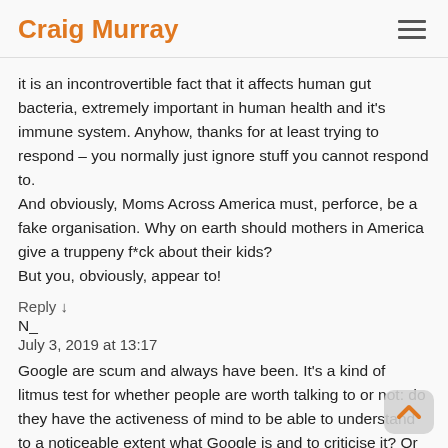Craig Murray
it is an incontrovertible fact that it affects human gut bacteria, extremely important in human health and it's immune system. Anyhow, thanks for at least trying to respond – you normally just ignore stuff you cannot respond to.
And obviously, Moms Across America must, perforce, be a fake organisation. Why on earth should mothers in America give a truppeny f*ck about their kids?
But you, obviously, appear to!
Reply ↓
N_
July 3, 2019 at 13:17
Google are scum and always have been. It's a kind of litmus test for whether people are worth talking to or not: do they have the activeness of mind to be able to understand to a noticeable extent what Google is and to criticise it? Or do they think it's just a noun formed from the normal verb for "to look for stuff", and "obviously" beyond criticism in the way that one doesn't criticise